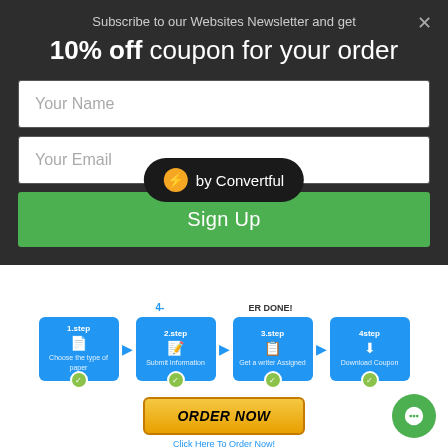Subscribe to our Websites Newsletter and get
10% off coupon for your order
Your Name
Your Email
Sign Up
[Figure (infographic): 4-step order process infographic with blue step boxes: 1.step Choose the type of paper, 2.step Submit Information, 3.step Get a writer Assigned, 4.step Download Coupon. Each step has a green checkmark. Steps connected by blue arrows. Below is an ORDER NOW button and Click Here To Order Now link with payment icons. A Convertful badge overlays the infographic.]
Share this:
Twitter
Facebook
More